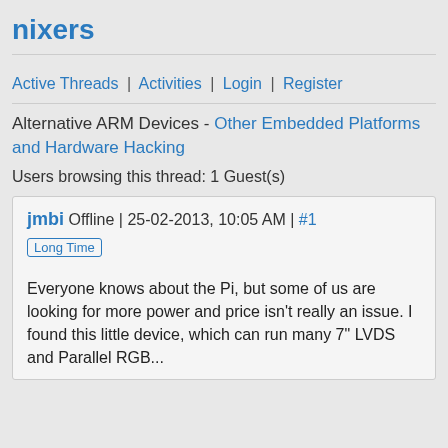nixers
Active Threads | Activities | Login | Register
Alternative ARM Devices - Other Embedded Platforms and Hardware Hacking
Users browsing this thread: 1 Guest(s)
jmbi Offline | 25-02-2013, 10:05 AM | #1
Long Time
Everyone knows about the Pi, but some of us are looking for more power and price isn't really an issue. I found this little device, which can run many 7" LVDS and Parallel RGB...